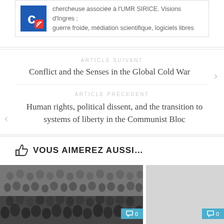chercheuse associée à l'UMR SIRICE. Visions d'Ingres : guerre froide, médiation scientifique, logiciels libres
ARTICLE SUIVANT
Conflict and the Senses in the Global Cold War
ARTICLE PRÉCÉDENT
Human rights, political dissent, and the transition to systems of liberty in the Communist Bloc
VOUS AIMEREZ AUSSI…
[Figure (photo): Black and white crowd photo of people seated in an audience, with comment badge showing 0]
[Figure (photo): Light gray placeholder image with comment badge showing 0]